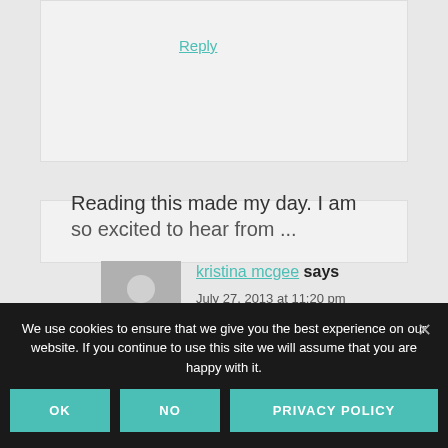Reply
kristina mcgee says
July 27, 2013 at 11:20 pm
Reading this made my day. I am
We use cookies to ensure that we give you the best experience on our website. If you continue to use this site we will assume that you are happy with it.
OK
NO
PRIVACY POLICY